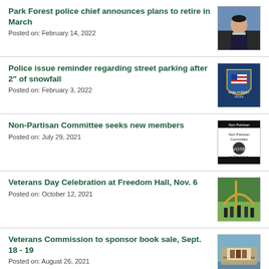Park Forest police chief announces plans to retire in March
Posted on: February 14, 2022
[Figure (photo): Photo of Park Forest police chief in uniform]
Police issue reminder regarding street parking after 2" of snowfall
Posted on: February 3, 2022
[Figure (photo): Park Forest Police badge/shield logo]
Non-Partisan Committee seeks new members
Posted on: July 29, 2021
[Figure (logo): Non-Partisan Committee in Park Forest logo]
Veterans Day Celebration at Freedom Hall, Nov. 6
Posted on: October 12, 2021
[Figure (photo): Veterans Day celebration photo]
Veterans Commission to sponsor book sale, Sept. 18 - 19
Posted on: August 26, 2021
[Figure (photo): Book sale event photo]